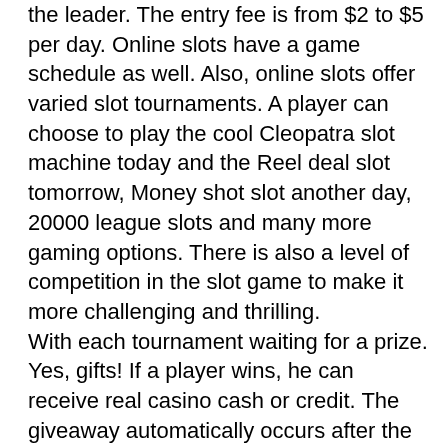the leader. The entry fee is from $2 to $5 per day. Online slots have a game schedule as well. Also, online slots offer varied slot tournaments. A player can choose to play the cool Cleopatra slot machine today and the Reel deal slot tomorrow, Money shot slot another day, 20000 league slots and many more gaming options. There is also a level of competition in the slot game to make it more challenging and thrilling.
With each tournament waiting for a prize. Yes, gifts! If a player wins, he can receive real casino cash or credit. The giveaway automatically occurs after the tournament.
Well, here is the secret of how to win slot tournaments both online and land. The first thing is to know how slot machines work. The slots are actually operated by an electronic random number generator or RNG. This RNG changes and determines the outcome of the game or combination thousands of times every second.
Next, check the payout table or list of potential combinations plus the number of points or coins each player will pay out.